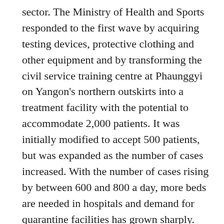sector. The Ministry of Health and Sports responded to the first wave by acquiring testing devices, protective clothing and other equipment and by transforming the civil service training centre at Phaunggyi on Yangon's northern outskirts into a treatment facility with the potential to accommodate 2,000 patients. It was initially modified to accept 500 patients, but was expanded as the number of cases increased. With the number of cases rising by between 600 and 800 a day, more beds are needed in hospitals and demand for quarantine facilities has grown sharply. Healthcare workers from throughout the country and thousands of volunteers have been deployed in Yangon Region and Rakhine State to ease the workload on over-burdened medical personnel.